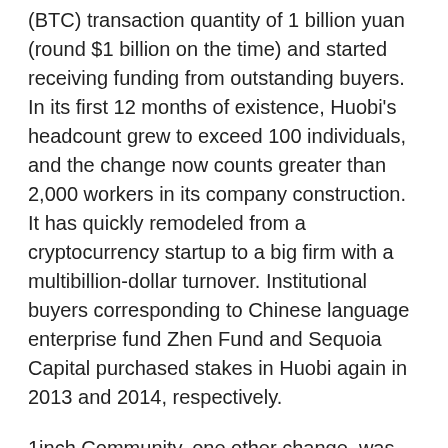(BTC) transaction quantity of 1 billion yuan (round $1 billion on the time) and started receiving funding from outstanding buyers. In its first 12 months of existence, Huobi's headcount grew to exceed 100 individuals, and the change now counts greater than 2,000 workers in its company construction. It has quickly remodeled from a cryptocurrency startup to a big firm with a multibillion-dollar turnover. Institutional buyers corresponding to Chinese language enterprise fund Zhen Fund and Sequoia Capital purchased stakes in Huobi again in 2013 and 2014, respectively.
1inch Community, one other change, was based on the ETHNewYork hackathon in Might 2019 by Sergej Kunz and Anton Bukov, engineers with a few years of software program improvement expertise. Right now, 1inch is a decentralized community of over 100 contributors distributed all around the world. From